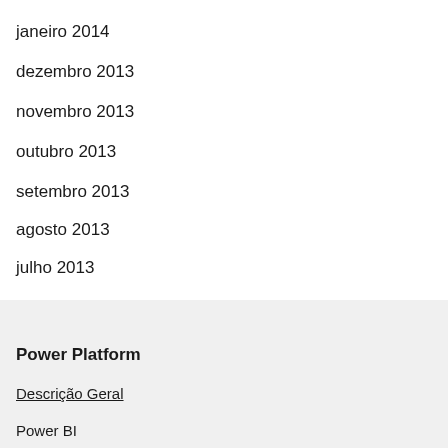janeiro 2014
dezembro 2013
novembro 2013
outubro 2013
setembro 2013
agosto 2013
julho 2013
Power Platform
Descrição Geral
Power BI